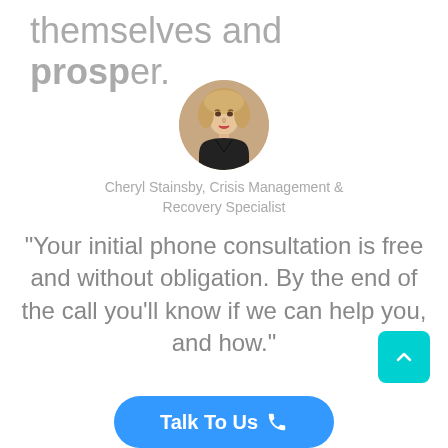themselves and prosper.
[Figure (photo): Headshot photo of Cheryl Stainsby, a woman with blonde bob haircut wearing a black top, circular cropped portrait]
Cheryl Stainsby, Crisis Management & Recovery Specialist
“Your initial phone consultation is free and without obligation. By the end of the call you’ll know if we can help you, and how.”